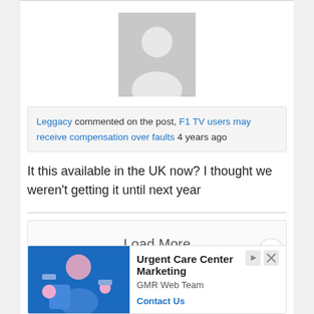[Figure (illustration): Default user avatar placeholder — grey silhouette of a person on a light grey square background]
Leggacy commented on the post, F1 TV users may receive compensation over faults 4 years ago
It this available in the UK now? I thought we weren't getting it until next year
Load More
[Figure (screenshot): Advertisement banner: Urgent Care Center Marketing by GMR Web Team with Contact Us link. Shows a woman in blue scrubs. Ad label visible top left with close/skip icons top right.]